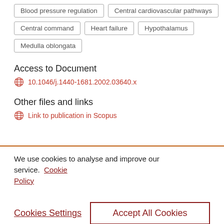Blood pressure regulation
Central cardiovascular pathways
Central command
Heart failure
Hypothalamus
Medulla oblongata
Access to Document
10.1046/j.1440-1681.2002.03640.x
Other files and links
Link to publication in Scopus
We use cookies to analyse and improve our service. Cookie Policy
Cookies Settings
Accept All Cookies